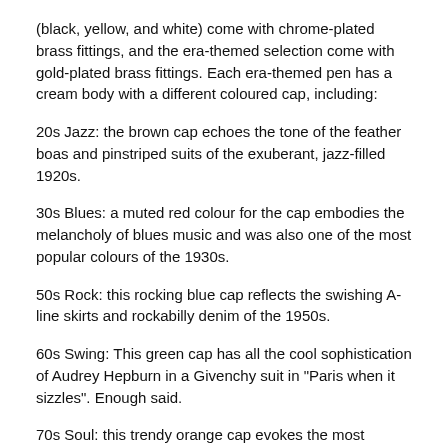(black, yellow, and white) come with chrome-plated brass fittings, and the era-themed selection come with gold-plated brass fittings. Each era-themed pen has a cream body with a different coloured cap, including:
20s Jazz: the brown cap echoes the tone of the feather boas and pinstriped suits of the exuberant, jazz-filled 1920s.
30s Blues: a muted red colour for the cap embodies the melancholy of blues music and was also one of the most popular colours of the 1930s.
50s Rock: this rocking blue cap reflects the swishing A-line skirts and rockabilly denim of the 1950s.
60s Swing: This green cap has all the cool sophistication of Audrey Hepburn in a Givenchy suit in "Paris when it sizzles". Enough said.
70s Soul: this trendy orange cap evokes the most popular colour of the 1970s, a warm autumnal orange, full of soul.
Presented in a nostalgic Kaweco gift tin with an ink cartridge